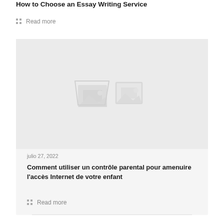How to Choose an Essay Writing Service
Read more
[Figure (photo): Placeholder image thumbnail with broken image icon]
julio 27, 2022
Comment utiliser un contrôle parental pour amenuire l'accès Internet de votre enfant
Read more